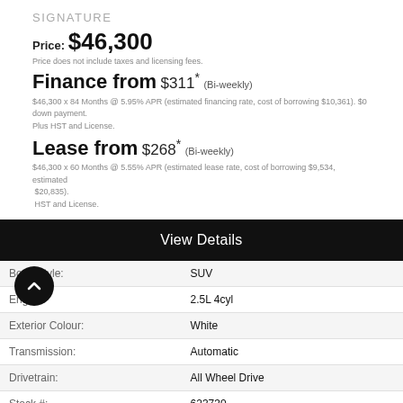SIGNATURE
Price: $46,300
Price does not include taxes and licensing fees.
Finance from $311* (Bi-weekly)
$46,300 x 84 Months @ 5.95% APR (estimated financing rate, cost of borrowing $10,361). $0 down payment.
Plus HST and License.
Lease from $268* (Bi-weekly)
$46,300 x 60 Months @ 5.55% APR (estimated lease rate, cost of borrowing $9,534, estimated $20,835).
HST and License.
View Details
|  |  |
| --- | --- |
| Body Style: | SUV |
| Engine: | 2.5L 4cyl |
| Exterior Colour: | White |
| Transmission: | Automatic |
| Drivetrain: | All Wheel Drive |
| Stock #: | 623730 |
| City: | Kingston |